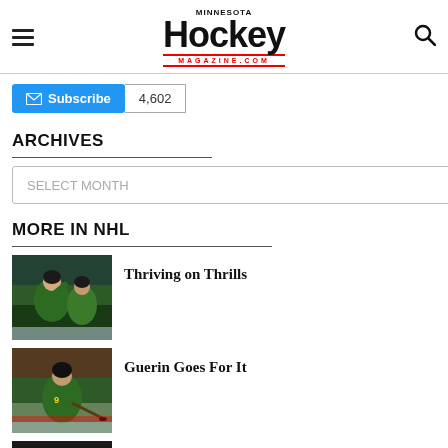Minnesota Hockey Magazine
Subscribe 4,602
ARCHIVES
SELECT MONTH
MORE IN NHL
[Figure (photo): Hockey players in green Minnesota Wild jerseys celebrating on ice]
Thriving on Thrills
[Figure (photo): Hockey player in green Minnesota Wild jersey skating with puck]
Guerin Goes For It
[Figure (photo): Dark photo of hockey player]
A Legacy Lauded